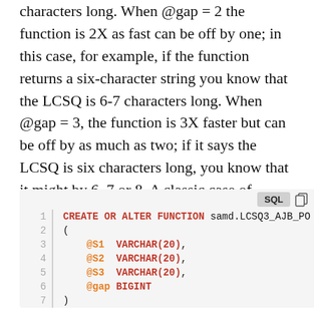characters long. When @gap = 2 the function is 2X as fast can be off by one; in this case, for example, if the function returns a six-character string you know that the LCSQ is 6-7 characters long. When @gap = 3, the function is 3X faster but can be off by as much as two; if it says the LCSQ is six characters long, you know that it might by 6, 7 or 8. A classic case of trading performance for accuracy.
CREATE OR ALTER FUNCTION samd.LCSQ3_AJB_PO
(
    @S1  VARCHAR(20),
    @S2  VARCHAR(20),
    @S3  VARCHAR(20),
    @gap BIGINT
)